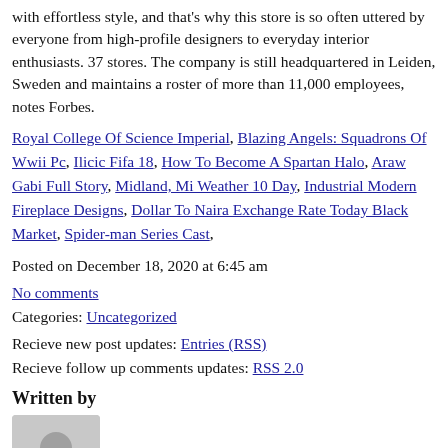with effortless style, and that's why this store is so often uttered by everyone from high-profile designers to everyday interior enthusiasts. 37 stores. The company is still headquartered in Leiden, Sweden and maintains a roster of more than 11,000 employees, notes Forbes.
Royal College Of Science Imperial, Blazing Angels: Squadrons Of Wwii Pc, Ilicic Fifa 18, How To Become A Spartan Halo, Araw Gabi Full Story, Midland, Mi Weather 10 Day, Industrial Modern Fireplace Designs, Dollar To Naira Exchange Rate Today Black Market, Spider-man Series Cast,
Posted on December 18, 2020 at 6:45 am
No comments
Categories: Uncategorized
Recieve new post updates: Entries (RSS)
Recieve follow up comments updates: RSS 2.0
Written by
[Figure (photo): Avatar placeholder image, grey circle/person icon]